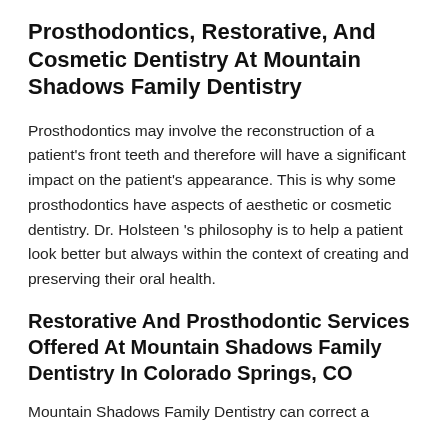Prosthodontics, Restorative, And Cosmetic Dentistry At Mountain Shadows Family Dentistry
Prosthodontics may involve the reconstruction of a patient's front teeth and therefore will have a significant impact on the patient's appearance. This is why some prosthodontics have aspects of aesthetic or cosmetic dentistry. Dr. Holsteen 's philosophy is to help a patient look better but always within the context of creating and preserving their oral health.
Restorative And Prosthodontic Services Offered At Mountain Shadows Family Dentistry In Colorado Springs, CO
Mountain Shadows Family Dentistry can correct a